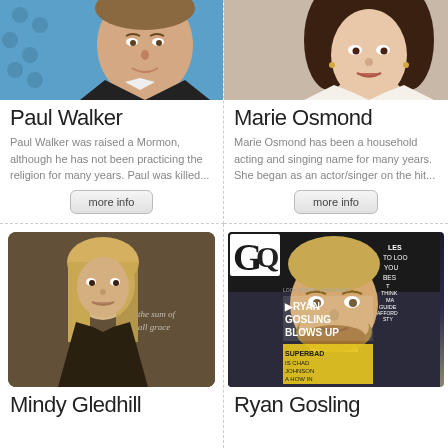[Figure (photo): Photo of Paul Walker smiling, wearing a dark suit, blue background with dots]
Paul Walker
Paul Walker was raised a Mormon, although he has not been practicing the religion for many years. Paul was killed...
[Figure (photo): Photo of Marie Osmond with curly dark hair, white outfit]
Marie Osmond
Marie Osmond has been a household acting and singing name for many years. She began as an actor/singer on the hit...
[Figure (photo): Photo of Mindy Gledhill, album cover style, blonde woman, sepia toned, text 'the sum of all grace']
Mindy Gledhill
[Figure (photo): GQ magazine cover featuring Ryan Gosling, text: RYAN GOSLING BLOWS UP, SUPERBAD IS CHAD JOHNSON A HOW IN THE NFL?]
Ryan Gosling